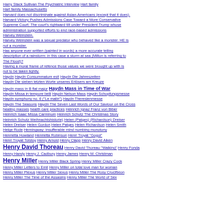Harry Stack Sullivan The Psychiatric Interview  Hart family  Hart family Massachusetts
Harvard does not discriminate against Asian-Americans (except that it does).
Harvard Victory Pushes Admissions Case Toward a More Conservative Supreme Court: The court's rightward tilt under President Trump whose administration supported efforts to end race-based admissions
Harvey Weinstein.
Harvey Weinstein was a sexual predator who behaved like a monster. HE is not a monster.
Has anyone ever written (painted in words) a more accurate telling description of a rainstorm: in this case a storm at sea (Milton is referring to The Flood)?
Having a moral frame of refence those values we were brought up with is not to be taken lightly.
Haydn  Haydn Consummatum est!  Haydn Die Jahreszeiten
Haydn Die sieben letzten Worte unseres Erlösers am Kreuze
Haydn mass in B flat major  Haydn Mass in Time of War
Haydn Missa in tempore belli  Haydn Nelson Mass  Haydn Schopfungsmesse
Haydn symphony no. 6 ("Le matin")  Haydn Theresienmesse
Haydn The Seasons  Haydn The Seven Last Words of Our Saviour on the Cross
healing masses  health care practices  Heinrich Ignaz Franz von Biber
Heinrich Isaac Missa Carminum  Heinrich Schutz The Christmas Story
Heinrich Schutz Weihnachtshistorie)  Helen (Patges) (Richardson) Dreiser
Helen Dreiser  Helen Gordon  Helen Patges  Helen Richardson  Helen Smith
Helge Rode  Hemingway: insufferable mind numbing monotony
Henrietta Howland  Henrietta Robinson  Henri Troyat "Gogol"
Henri Troyat Tolstoy  Henry Arnold  Henry Clapp  Henry David Aiken
Henry David Thoreau  Henry David Thoreau "Walking"  Henry Fonda
Henry Handy  Henry J. Cadbury  Henry James  Henry M. Christman
Henry Miller  Henry Miller Black Spring  Henry Miller Crazy Cock
Henry Miller Letters to Emil  Henry Miller on total love man for woman
Henry Miller Plexus  Henry Miller Sexus  Henry Miller The Rosy Crucifixion
Henry Miller The Time of the Assasins  Henry Miller The World of Sex